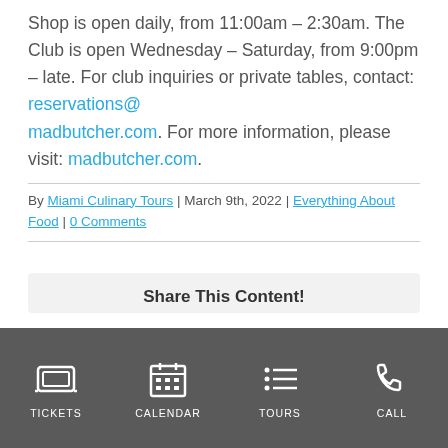Shop is open daily, from 11:00am – 2:30am. The Club is open Wednesday – Saturday, from 9:00pm – late. For club inquiries or private tables, contact: reservations@madbutcher.com. For more information, please visit: madbutcher.com.
By Miami Culinary Tours | March 9th, 2022 | Everything About Food | 0 Comments
Share This Content!
TICKETS | CALENDAR | TOURS | CALL